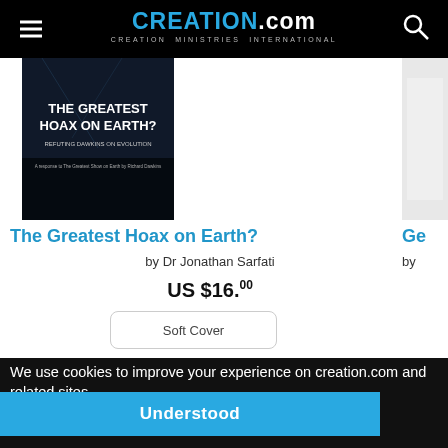CREATION.com — CREATION MINISTRIES INTERNATIONAL
[Figure (photo): Book cover: 'The Greatest Hoax on Earth? Refuting Dawkins on Evolution' — dark background with text]
The Greatest Hoax on Earth?
by Dr Jonathan Sarfati
US $16.00
Soft Cover
We use cookies to improve your experience on creation.com and related sites.
Privacy Policy
Understood
Grace Bible Church